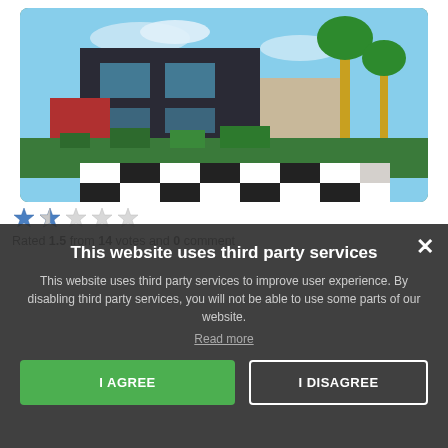[Figure (screenshot): Minecraft-style modern house build with garden, palm trees, and checkered pathway]
Rated 1.5 from 14 votes and 0 comment
This website uses third party services
This website uses third party services to improve user experience. By disabling third party services, you will not be able to use some parts of our website.
Read more
I AGREE
I DISAGREE